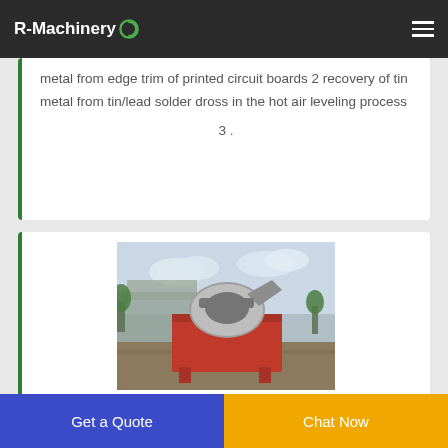R-Machinery
metal from edge trim of printed circuit boards 2 recovery of tin metal from tin/lead solder dross in the hot air leveling process 3 .
[Figure (photo): Industrial copper wire separating machine with red base and grey barrel, photographed outdoors near a building]
Integrated Type Copper Wire Separating Machine Suppliers